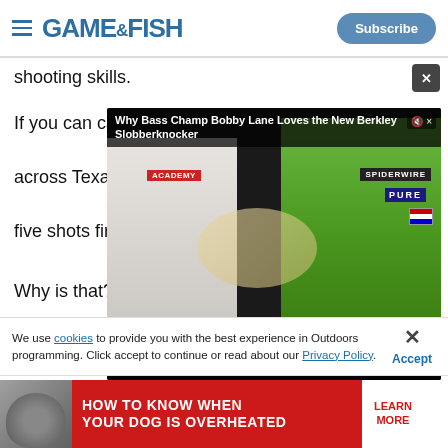GAME&FISH — Subscribe
shooting skills.
If you can call it [video overlay] across Texas is [video overlay] five shots fired [video overlay]
Why is that?
Take a hunter w[video overlay]
[Figure (screenshot): Embedded video player overlay showing 'Why Bass Champ Bobby Lane Loves the New Berkley Slobberknocker' with video thumbnail of two people, video controls showing 00:00 / 04:02 timestamp, mute and CC buttons]
We use cookies to provide you with the best experience in Outdoors programming. Click accept to continue or read about our Privacy Policy.
[Figure (photo): Advertisement banner: HOW TO KNOW WHEN YOUR DOG IS OVERHEATED — LEARN MORE on red background with dog image on left]